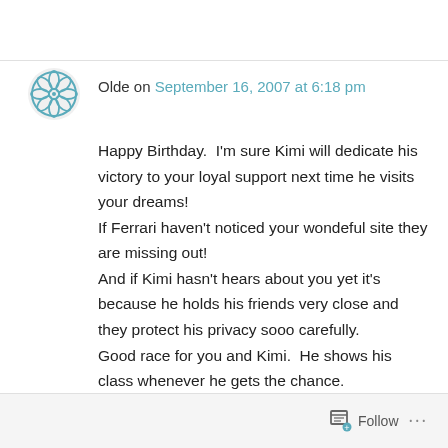[Figure (logo): Teal geometric floral avatar icon for user Olde]
Olde on September 16, 2007 at 6:18 pm
Happy Birthday.  I'm sure Kimi will dedicate his victory to your loyal support next time he visits your dreams!
If Ferrari haven't noticed your wondeful site they are missing out!
And if Kimi hasn't hears about you yet it's because he holds his friends very close and they protect his privacy sooo carefully.
Good race for you and Kimi.  He shows his class whenever he gets the chance.
The legal stuff is a great shame, it's my belief,
Follow ...